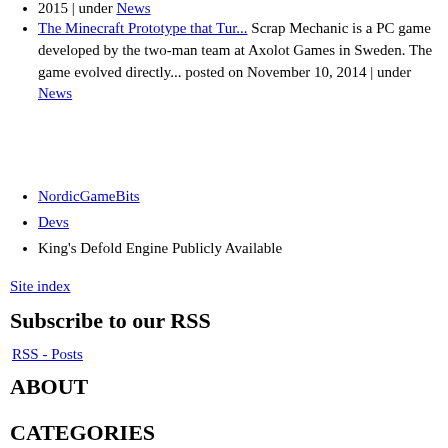2015 | under News
The Minecraft Prototype that Tur... Scrap Mechanic is a PC game developed by the two-man team at Axolot Games in Sweden. The game evolved directly... posted on November 10, 2014 | under News
NordicGameBits
Devs
King's Defold Engine Publicly Available
Site index
Subscribe to our RSS
RSS - Posts
ABOUT
CATEGORIES